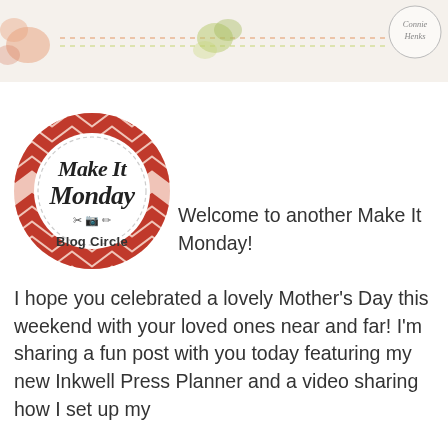[Figure (illustration): Banner image with floral watercolor elements (orange flower on left, green flower in center), dotted pattern, and a circular watermark reading 'Connie Henks' on the right side]
[Figure (logo): Make It Monday Blog Circle logo - circular badge with red/pink chevron pattern border and text 'Make It Monday Blog Circle' with crafting icons]
Welcome to another Make It Monday! I hope you celebrated a lovely Mother's Day this weekend with your loved ones near and far! I'm sharing a fun post with you today featuring my new Inkwell Press Planner and a video sharing how I set up my